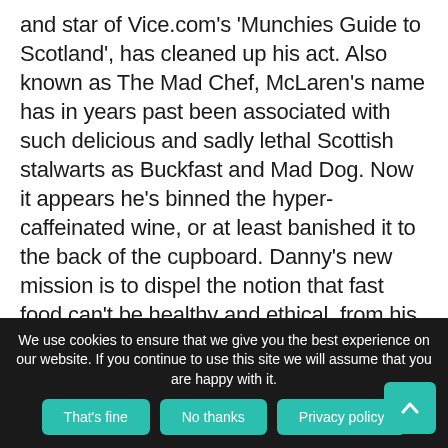and star of Vice.com's 'Munchies Guide to Scotland', has cleaned up his act. Also known as The Mad Chef, McLaren's name has in years past been associated with such delicious and sadly lethal Scottish stalwarts as Buckfast and Mad Dog. Now it appears he's binned the hyper-caffeinated wine, or at least banished it to the back of the cupboard. Danny's new mission is to dispel the notion that fast food can't be healthy and ethical, from his new and hopefully permanent location for the Durty Vegan Burger Club, Glasgow's first dedicated vegan burger restaurant.
We use cookies to ensure that we give you the best experience on our website. If you continue to use this site we will assume that you are happy with it.
That's fine
No thanks
Privacy policy